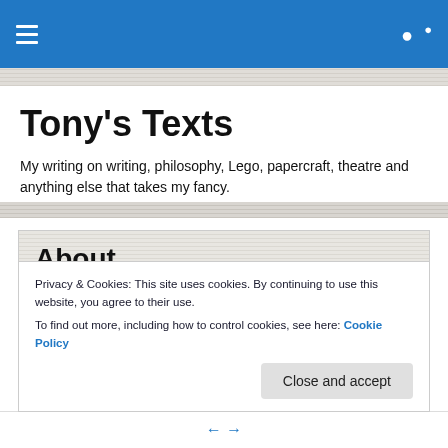Tony's Texts – navigation bar
Tony's Texts
My writing on writing, philosophy, Lego, papercraft, theatre and anything else that takes my fancy.
About
Puck (to the audience):
Privacy & Cookies: This site uses cookies. By continuing to use this website, you agree to their use. To find out more, including how to control cookies, see here: Cookie Policy
Close and accept